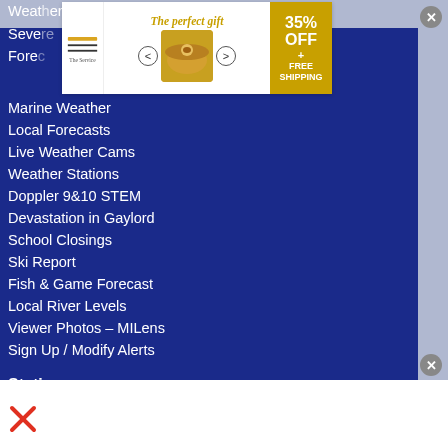[Figure (screenshot): Advertisement banner for 'The perfect gift' showing 35% OFF + FREE SHIPPING with a food image (soup/stew pot) and navigation arrows]
Marine Weather
Local Forecasts
Live Weather Cams
Weather Stations
Doppler 9&10 STEM
Devastation in Gaylord
School Closings
Ski Report
Fish & Game Forecast
Local River Levels
Viewer Photos – MILens
Sign Up / Modify Alerts
Stations
9&10 News
Local 32
Northern Michigan CW32
Northern Michigan MeTV
Watch Now